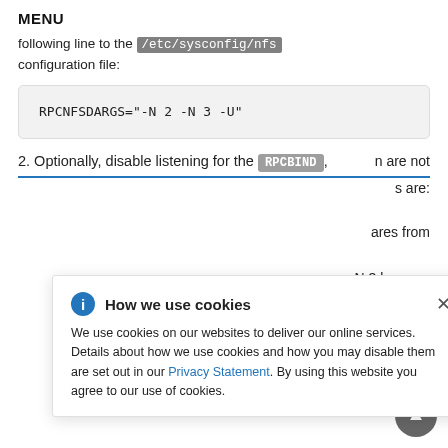MENU
following line to the /etc/sysconfig/nfs configuration file:
2. Optionally, disable listening for the RPCBIND , n are not
s are:
ares from
N 3 become
[Figure (other): Cookie consent popup overlay with title 'How we use cookies', information icon, close button, and body text about cookie usage with Privacy Statement link.]